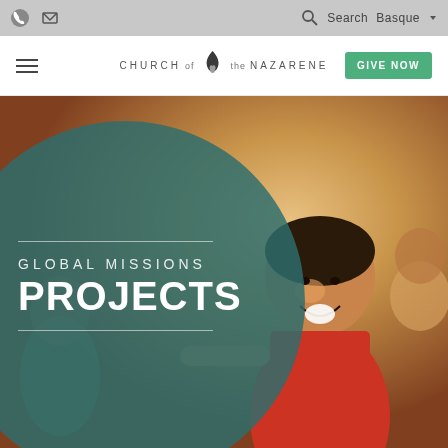Church of the Nazarene — utility bar with phone, email icons, search, Basque language selector
[Figure (logo): Church of the Nazarene logo with flame emblem and text]
GIVE NOW
[Figure (photo): Hero image showing smiling children outdoors, with a large teal semi-transparent circle overlay on the left side containing the text 'GLOBAL MISSIONS PROJECTS']
GLOBAL MISSIONS PROJECTS